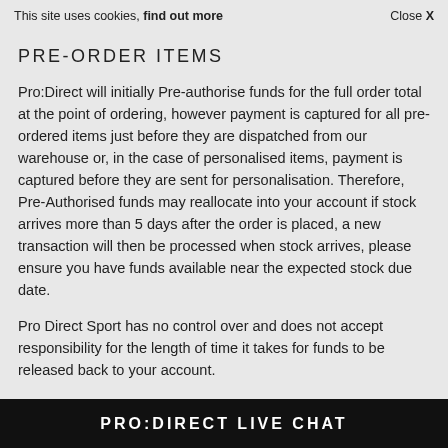This site uses cookies, find out more   Close X
PRE-ORDER ITEMS
Pro:Direct will initially Pre-authorise funds for the full order total at the point of ordering, however payment is captured for all pre-ordered items just before they are dispatched from our warehouse or, in the case of personalised items, payment is captured before they are sent for personalisation. Therefore, Pre-Authorised funds may reallocate into your account if stock arrives more than 5 days after the order is placed, a new transaction will then be processed when stock arrives, please ensure you have funds available near the expected stock due date.
Pro Direct Sport has no control over and does not accept responsibility for the length of time it takes for funds to be released back to your account.
Pre-Order dates are provisional and although we do receive most stock on time we cannot be held responsible for any costs incurred for your time, or services paid for if there are delays or non-supply of product.
By submitting your payment details to Pro Direct Sport, you accept that we will capture funds at the time stock is available for dispatch. Pro
PRO:DIRECT LIVE CHAT